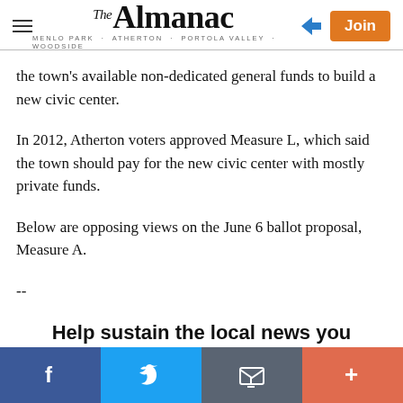The Almanac — MENLO PARK · ATHERTON · PORTOLA VALLEY · WOODSIDE
the town's available non-dedicated general funds to build a new civic center.
In 2012, Atherton voters approved Measure L, which said the town should pay for the new civic center with mostly private funds.
Below are opposing views on the June 6 ballot proposal, Measure A.
--
Help sustain the local news you depend on.
Your contribution matters. Become a